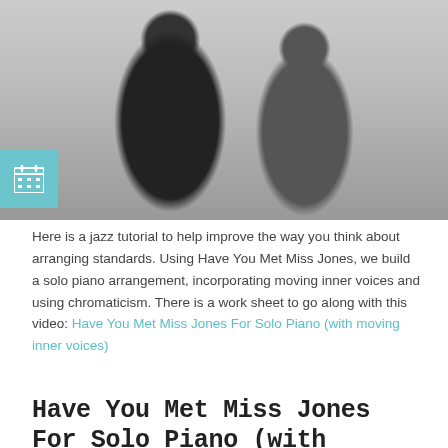[Figure (photo): Black and white photo of two people — a man in a suit and fedora hat smiling, and a woman with long dark hair wearing a casual top with white stripe armbands, leaning against a wooden wall.]
Here is a jazz tutorial to help improve the way you think about arranging standards. Using Have You Met Miss Jones, we build a solo piano arrangement, incorporating moving inner voices and using chromaticism. There is a work sheet to go along with this video: Have You Met Miss Jones For Solo Piano (with moving inner voices)
Have You Met Miss Jones For Solo Piano (with moving inner